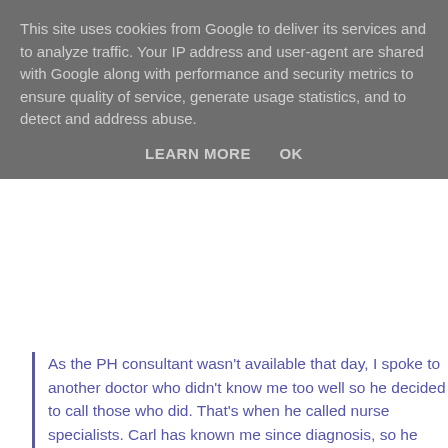This site uses cookies from Google to deliver its services and to analyze traffic. Your IP address and user-agent are shared with Google along with performance and security metrics to ensure quality of service, generate usage statistics, and to detect and address abuse.
LEARN MORE   OK
As the PH consultant wasn't available that day, I spoke to another doctor who didn't know me too well so he decided to call those who did. That's when he called nurse specialists. Carl has known me since diagnosis, so he knows my PH and that something was definitely wrong. He did give me some very positive news though, my heart muscle is beating well and is still strong. So that's wonderful to hear. The ECG also showed that I am not in a critical position. If I was, I would have been admitted. However, that doesn't answer the questions as to why my symptoms have worsened.
After a long discussion, we have decided that the PH team are going to look at me and discuss my health situation at their weekly MDT meeting. They will agree a way forward. I will wait to hear from the team with their decisions which will either be further investigation or change medications. We all believe it will be the latter.
I have been on the same medication, Sildenafil, since diagnosis, which is a normal course and new medication need to be introduced to the body. I am also aware that my symptoms deteriorated 3 years ago. I felt the affects of it very quickly.